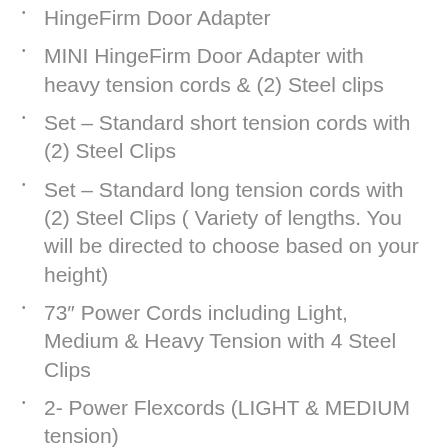HingeFirm Door Adapter
MINI HingeFirm Door Adapter with heavy tension cords  & (2) Steel clips
Set – Standard short tension cords with (2) Steel Clips
Set – Standard long tension cords with (2) Steel Clips  ( Variety of lengths. You will be directed to choose based on your height)
73″ Power Cords including Light, Medium & Heavy Tension with 4 Steel Clips
2- Power Flexcords (LIGHT & MEDIUM tension)